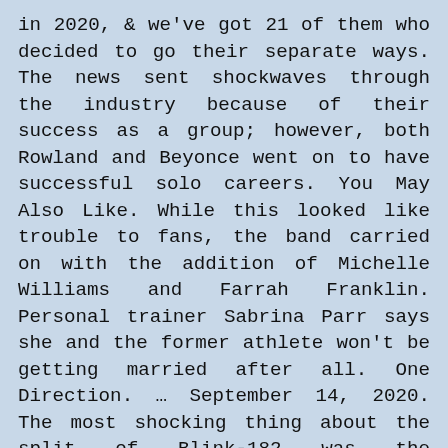in 2020, & we've got 21 of them who decided to go their separate ways. The news sent shockwaves through the industry because of their success as a group; however, both Rowland and Beyonce went on to have successful solo careers. You May Also Like. While this looked like trouble to fans, the band carried on with the addition of Michelle Williams and Farrah Franklin. Personal trainer Sabrina Parr says she and the former athlete won't be getting married after all. One Direction. … September 14, 2020. The most shocking thing about the split of Blink-182 was the animosity that formed between the members who always seemed to be like brothers. During the 2020 US presidential election, many rock musicians oppose Donald Trump's unauthorized use of their music. Celebrity Splits Of 2020: The Breakups, Divorces & More – Hollywood Life The 10 Messiest Band